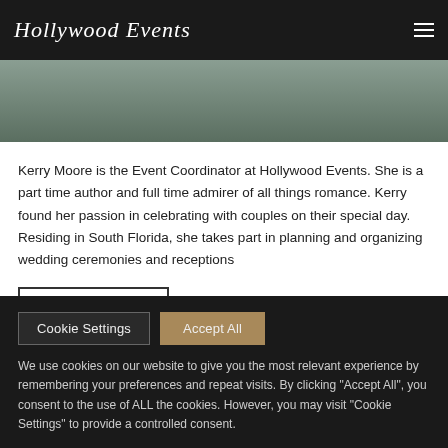Hollywood Events
[Figure (photo): Partial photo strip of a person, cropped, with dark greenish tones]
Kerry Moore is the Event Coordinator at Hollywood Events. She is a part time author and full time admirer of all things romance. Kerry found her passion in celebrating with couples on their special day. Residing in South Florida, she takes part in planning and organizing wedding ceremonies and receptions
ABOUT AUTHOR
Cookie Settings
Accept All
We use cookies on our website to give you the most relevant experience by remembering your preferences and repeat visits. By clicking "Accept All", you consent to the use of ALL the cookies. However, you may visit "Cookie Settings" to provide a controlled consent.